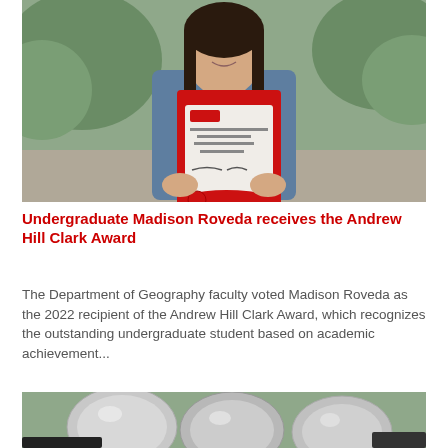[Figure (photo): A young woman holding a red certificate folder with a diploma/award certificate visible, standing outdoors with greenery in the background. She is smiling and wearing a denim jacket.]
Undergraduate Madison Roveda receives the Andrew Hill Clark Award
The Department of Geography faculty voted Madison Roveda as the 2022 recipient of the Andrew Hill Clark Award, which recognizes the outstanding undergraduate student based on academic achievement...
[Figure (photo): Partial view of silver/metallic balloons outdoors.]